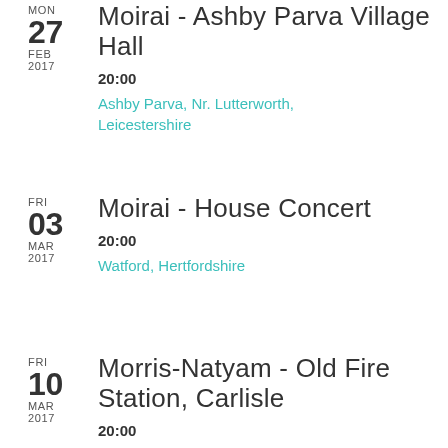MON 27 FEB 2017 - Moirai - Ashby Parva Village Hall - 20:00 - Ashby Parva, Nr. Lutterworth, Leicestershire
FRI 03 MAR 2017 - Moirai - House Concert - 20:00 - Watford, Hertfordshire
FRI 10 MAR 2017 - Morris-Natyam - Old Fire Station, Carlisle - 20:00